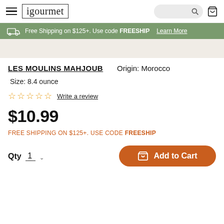igourmet
Free Shipping on $125+. Use code FREESHIP Learn More
[Figure (photo): Product image area, light beige background]
LES MOULINS MAHJOUB   Origin: Morocco
Size: 8.4 ounce
☆☆☆☆☆ Write a review
$10.99
FREE SHIPPING ON $125+. USE CODE FREESHIP
Qty 1   Add to Cart